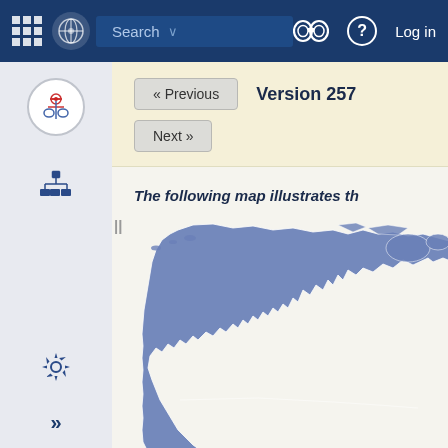Search | Log in
« Previous   Version 257
Next »
The following map illustrates th
[Figure (map): World map showing North America and parts of South America highlighted in blue/steel color, partially cropped. The map appears on a white background showing primarily the North American continent.]